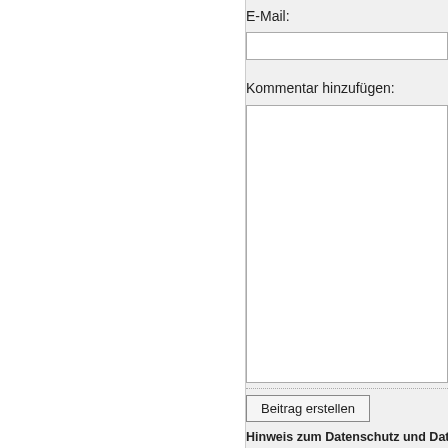E-Mail:
Kommentar hinzufügen:
Beitrag erstellen
Hinweis zum Datenschutz und Date